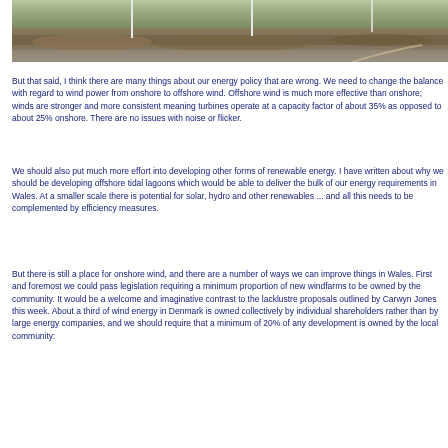[Figure (photo): Aerial or landscape photograph showing wind turbine poles in a moorland/upland setting with rocky terrain and grass]
But that said, I think there are many things about our energy policy that are wrong. We need to change the balance with regard to wind power from onshore to offshore wind. Offshore wind is much more effective than onshore; winds are stronger and more consistent meaning turbines operate at a capacity factor of about 35% as opposed to about 25% onshore. There are no issues with noise or flicker.
We should also put much more effort into developing other forms of renewable energy. I have written about why we should be developing offshore tidal lagoons which would be able to deliver the bulk of our energy requirements in Wales. At a smaller scale there is potential for solar, hydro and other renewables ... and all this needs to be complemented by efficiency measures.
But there is still a place for onshore wind, and there are a number of ways we can improve things in Wales. First and foremost we could pass legislation requiring a minimum proportion of new windfarms to be owned by the community. It would be a welcome and imaginative contrast to the lacklustre proposals outlined by Carwyn Jones this week. About a third of wind energy in Denmark is owned collectively by individual shareholders rather than by large energy companies, and we should require that a minimum of 20% of any development is owned by the local community: